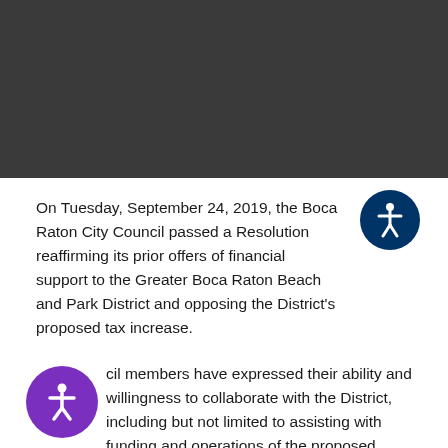[Figure (photo): Dark/black rectangular image placeholder at top of page]
On Tuesday, September 24, 2019, the Boca Raton City Council passed a Resolution reaffirming its prior offers of financial support to the Greater Boca Raton Beach and Park District and opposing the District's proposed tax increase.
Council members have expressed their ability and willingness to collaborate with the District, including but not limited to assisting with funding and operations of the proposed Ocean Rescue...